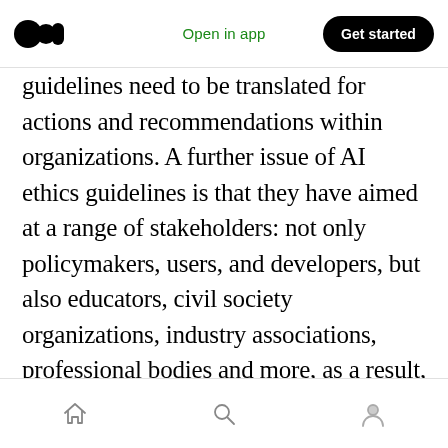Medium logo | Open in app | Get started
guidelines need to be translated for actions and recommendations within organizations. A further issue of AI ethics guidelines is that they have aimed at a range of stakeholders: not only policymakers, users, and developers, but also educators, civil society organizations, industry associations, professional bodies and more, as a result, current guidelines are often difficult to understand and are not drafted for technical users who are a group of key users. All stakeholders need to be well informed of AI ethics, roles and responsibilities. Furthermore,
Home | Search | Profile